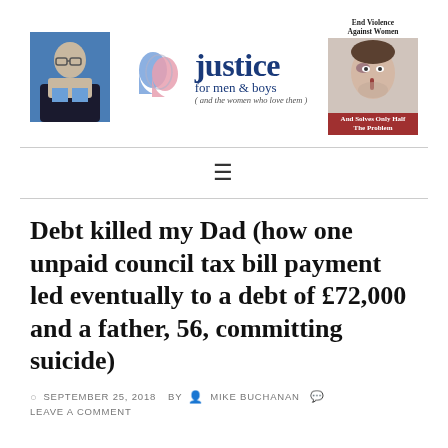[Figure (logo): Justice for men & boys logo with face silhouettes, author photo on left, and End Violence Against Women ad on right]
Debt killed my Dad (how one unpaid council tax bill payment led eventually to a debt of £72,000 and a father, 56, committing suicide)
SEPTEMBER 25, 2018   BY   MIKE BUCHANAN   LEAVE A COMMENT